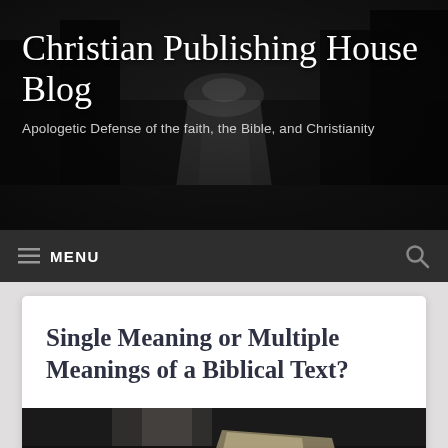[Figure (photo): Dark monochromatic banner showing a road or path through trees, used as website header background]
Christian Publishing House Blog
Apologetic Defense of the faith, the Bible, and Christianity
≡ MENU
Single Meaning or Multiple Meanings of a Biblical Text?
[Figure (photo): Photograph of a person's hands holding an open book, shot in dark moody tones]